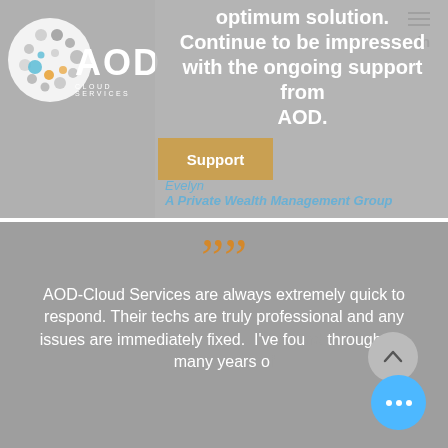[Figure (logo): AOD Cloud Services logo with circular dotted graphic and text 'AOD CLOUD SERVICES']
optimum solution. Continue to be impressed with the ongoing support from AOD.
Support
Evelyn
A Private Wealth Management Group
““ AOD-Cloud Services are always extremely quick to respond. Their techs are truly professional and any issues are immediately fixed. I've found through the many years of...